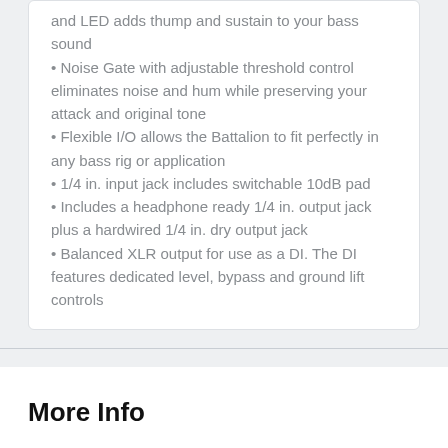and LED adds thump and sustain to your bass sound
Noise Gate with adjustable threshold control eliminates noise and hum while preserving your attack and original tone
Flexible I/O allows the Battalion to fit perfectly in any bass rig or application
1/4 in. input jack includes switchable 10dB pad
Includes a headphone ready 1/4 in. output jack plus a hardwired 1/4 in. dry output jack
Balanced XLR output for use as a DI. The DI features dedicated level, bypass and ground lift controls
More Info
Contact Us